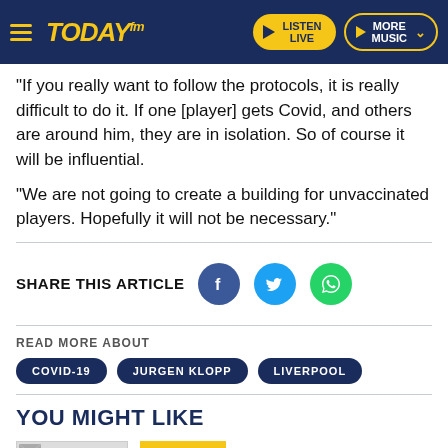TODAY fm — LISTEN LIVE | MORE MUSIC
"If you really want to follow the protocols, it is really difficult to do it. If one [player] gets Covid, and others are around him, they are in isolation. So of course it will be influential.
"We are not going to create a building for unvaccinated players. Hopefully it will not be necessary."
SHARE THIS ARTICLE
READ MORE ABOUT
COVID-19
JURGEN KLOPP
LIVERPOOL
YOU MIGHT LIKE
[Figure (photo): Thumbnail image placeholder with SPORT badge]